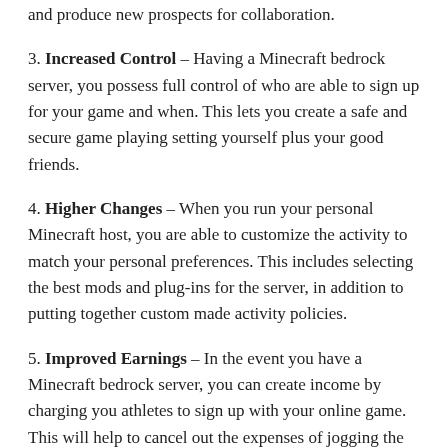and produce new prospects for collaboration.
3. Increased Control – Having a Minecraft bedrock server, you possess full control of who are able to sign up for your game and when. This lets you create a safe and secure game playing setting yourself plus your good friends.
4. Higher Changes – When you run your personal Minecraft host, you are able to customize the activity to match your personal preferences. This includes selecting the best mods and plug-ins for the server, in addition to putting together custom made activity policies.
5. Improved Earnings – In the event you have a Minecraft bedrock server, you can create income by charging you athletes to sign up with your online game. This will help to cancel out the expenses of jogging the web server and provide you with a little extra cash flow.
How Can You Get Moving?